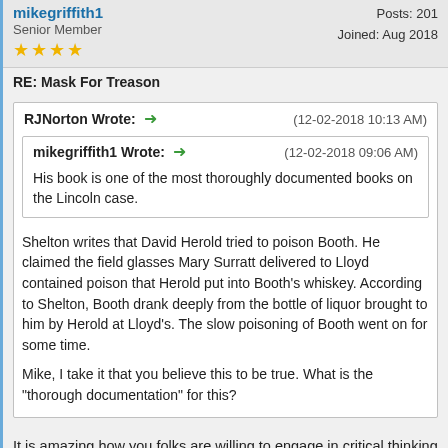mikegriffith1 | Senior Member | Posts: 201 | Joined: Aug 2018
RE: Mask For Treason
RJNorton Wrote: → (12-02-2018 10:13 AM)
mikegriffith1 Wrote: → (12-02-2018 09:06 AM)
His book is one of the most thoroughly documented books on the Lincoln case.
Shelton writes that David Herold tried to poison Booth. He claimed the field glasses Mary Surratt delivered to Lloyd contained poison that Herold put into Booth's whiskey. According to Shelton, Booth drank deeply from the bottle of liquor brought to him by Herold at Lloyd's. The slow poisoning of Booth went on for some time.

Mike, I take it that you believe this to be true. What is the "thorough documentation" for this?
It is amazing how you folks are willing to engage in critical thinking to critically analyze any non-traditionalist sources, but then you will turn around and unquestioningly accept the most abject nonsense from traditionalist sources.